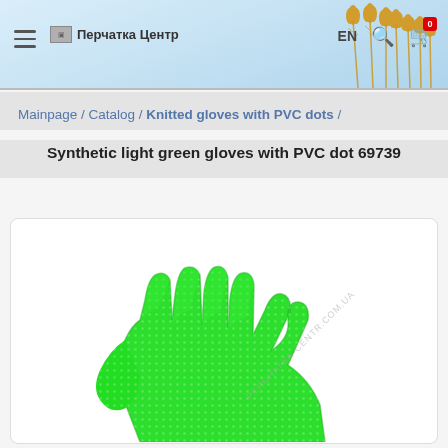≡  🖼 Перчатка Центр    EN  🔍  [0] 🛒
Mainpage / Catalog / Knitted gloves with PVC dots /
Synthetic light green gloves with PVC dot 69739
[Figure (photo): A bright green knitted glove with PVC dots photographed against a white background, showing all five fingers spread open. A watermark reads PERCHATKA-CENTR.COM.UA.]